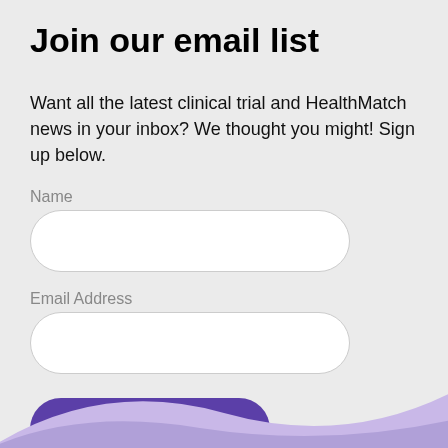Join our email list
Want all the latest clinical trial and HealthMatch news in your inbox? We thought you might! Sign up below.
Name
Email Address
[Figure (other): Purple Subscribe button with envelope icon and bold white text reading Subscribe]
[Figure (other): Light purple decorative wave curve at the bottom of the page]